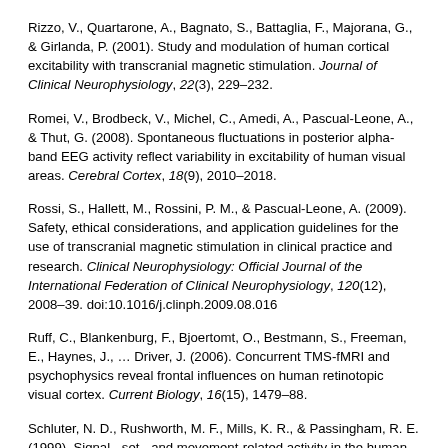Rizzo, V., Quartarone, A., Bagnato, S., Battaglia, F., Majorana, G., & Girlanda, P. (2001). Study and modulation of human cortical excitability with transcranial magnetic stimulation. Journal of Clinical Neurophysiology, 22(3), 229–232.
Romei, V., Brodbeck, V., Michel, C., Amedi, A., Pascual-Leone, A., & Thut, G. (2008). Spontaneous fluctuations in posterior alpha-band EEG activity reflect variability in excitability of human visual areas. Cerebral Cortex, 18(9), 2010–2018.
Rossi, S., Hallett, M., Rossini, P. M., & Pascual-Leone, A. (2009). Safety, ethical considerations, and application guidelines for the use of transcranial magnetic stimulation in clinical practice and research. Clinical Neurophysiology: Official Journal of the International Federation of Clinical Neurophysiology, 120(12), 2008–39. doi:10.1016/j.clinph.2009.08.016
Ruff, C., Blankenburg, F., Bjoertomt, O., Bestmann, S., Freeman, E., Haynes, J., … Driver, J. (2006). Concurrent TMS-fMRI and psychophysics reveal frontal influences on human retinotopic visual cortex. Current Biology, 16(15), 1479–88.
Schluter, N. D., Rushworth, M. F., Mills, K. R., & Passingham, R. E. (1999). Signal-, set-, and movement-related activity in the human